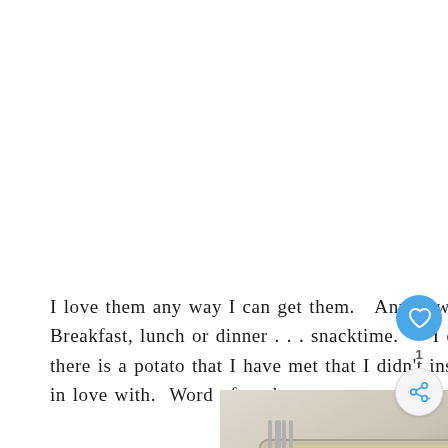I love them any way I can get them.   Any how.  Any time.  Breakfast, lunch or dinner . . . snacktime.    I do not think there is a potato that I have met that I didn't instantly fall in love with.  Word of truth.
[Figure (photo): A close-up photo of a casserole dish with a fork, showing a potato dish garnished with green herbs, placed on a striped cloth]